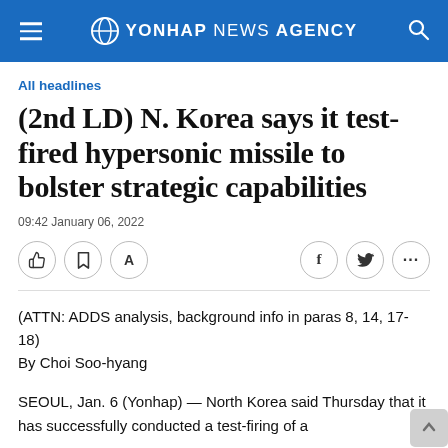YONHAP NEWS AGENCY
All headlines
(2nd LD) N. Korea says it test-fired hypersonic missile to bolster strategic capabilities
09:42 January 06, 2022
(ATTN: ADDS analysis, background info in paras 8, 14, 17-18)
By Choi Soo-hyang
SEOUL, Jan. 6 (Yonhap) — North Korea said Thursday that it has successfully conducted a test-firing of a